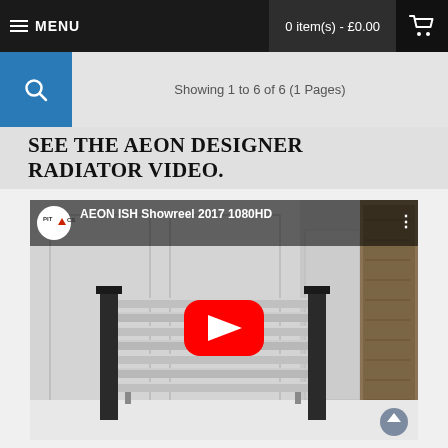MENU  0 item(s) - £0.00
Showing 1 to 6 of 6 (1 Pages)
SEE THE AEON DESIGNER RADIATOR VIDEO.
[Figure (screenshot): YouTube video thumbnail showing AEON ISH Showreel 2017 1080HD. A modern horizontal radiator with metallic bars supported by two dark columns stands in a white paneled room with tapestry on the right. A large red YouTube play button is centered on the image. PITACS logo circle appears top left with three dots menu top right.]